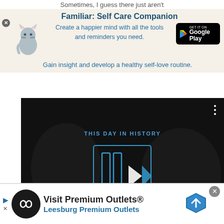Sometimes, I guess there just aren't
[Figure (screenshot): App advertisement for 'Familiar: Self Care Companion' with cat icon, Google Play button, and tagline text on beige background]
[Figure (screenshot): Video player showing 'THIS DAY IN HISTORY' with play button, mute icon, scrubber bar, and AUGUST overlay on dark background]
[Figure (screenshot): Bottom banner ad for 'Visit Premium Outlets® Leesburg Premium Outlets' with infinity logo and map/navigation icon]